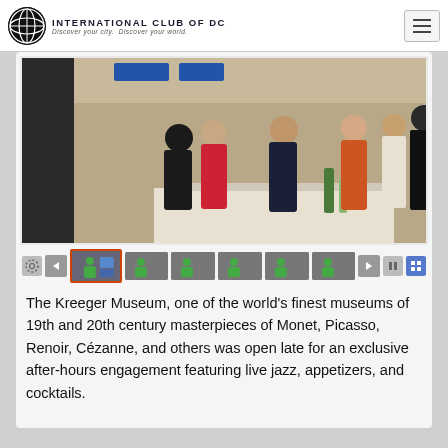INTERNATIONAL CLUB OF DC — Discover your city. Discover your world.
[Figure (photo): Indoor museum event with people mingling at a cocktail reception, tables with drinks and appetizers visible in foreground, large open gallery space with high ceilings]
[Figure (screenshot): Slideshow navigation controls with gear icon, arrow icons, thumbnail images, pause and other control buttons]
The Kreeger Museum, one of the world's finest museums of 19th and 20th century masterpieces of Monet, Picasso, Renoir, Cézanne, and others was open late for an exclusive after-hours engagement featuring live jazz, appetizers, and cocktails.